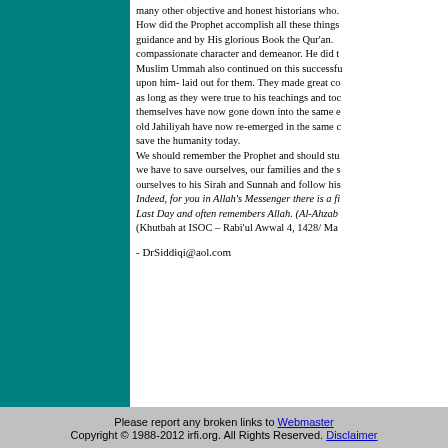many other objective and honest historians who. How did the Prophet accomplish all these things guidance and by His glorious Book the Qur'an. compassionate character and demeanor. He did t Muslim Ummah also continued on this successfu upon him- laid out for them. They made great co as long as they were true to his teachings and toc themselves have now gone down into the same e old Jahiliyah have now re-emerged in the same c save the humanity today. We should remember the Prophet and should stu we have to save ourselves, our families and the s ourselves to his Sirah and Sunnah and follow his Indeed, for you in Allah's Messenger there is a fi Last Day and often remembers Allah. (Al-Ahzab (Khutbah at ISOC – Rabi'ul Awwal 4, 1428/ Ma
- DrSiddiqi@aol.com
Please report any broken links to Webmaster
Copyright © 1988-2012 irfi.org. All Rights Reserved. Disclaimer